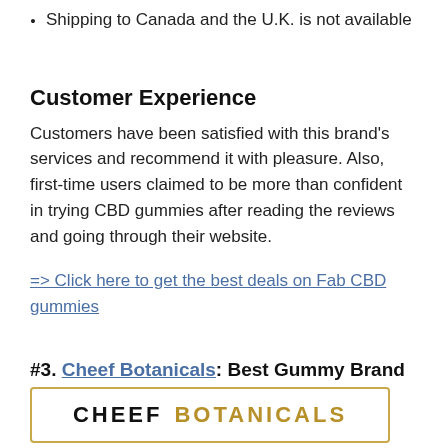Shipping to Canada and the U.K. is not available
Customer Experience
Customers have been satisfied with this brand’s services and recommend it with pleasure. Also, first-time users claimed to be more than confident in trying CBD gummies after reading the reviews and going through their website.
=> Click here to get the best deals on Fab CBD gummies
#3. Cheef Botanicals: Best Gummy Brand
[Figure (logo): Cheef Botanicals logo with CHEEF in bold black and BOTANICALS in gold/tan color, inside a gold-bordered rectangle]